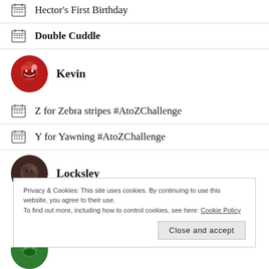Hector's First Birthday
Double Cuddle
Kevin
Z for Zebra stripes #AtoZChallenge
Y for Yawning #AtoZChallenge
Locksley
Privacy & Cookies: This site uses cookies. By continuing to use this website, you agree to their use. To find out more, including how to control cookies, see here: Cookie Policy
Close and accept